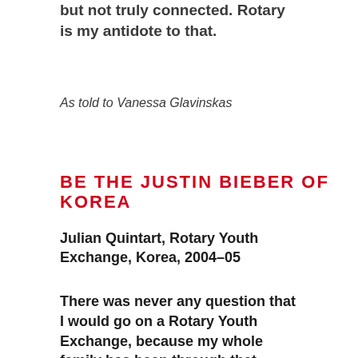but not truly connected. Rotary is my antidote to that.
As told to Vanessa Glavinskas
BE THE JUSTIN BIEBER OF KOREA
Julian Quintart, Rotary Youth Exchange, Korea, 2004–05
There was never any question that I would go on a Rotary Youth Exchange, because my whole family has been through that program. My mom went from Belgium to the United States in 1973, my older brother went to the States too, and my sister went to New Zealand. My parents always emphasized how important it is to travel and see the world from a new